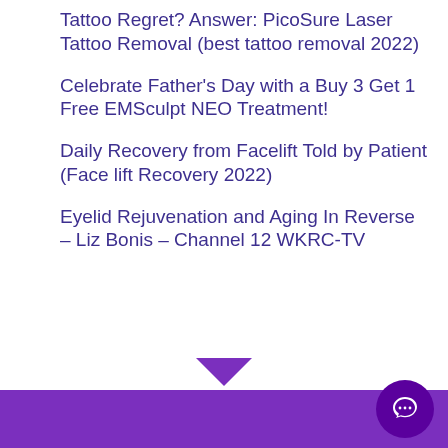Tattoo Regret? Answer: PicoSure Laser Tattoo Removal (best tattoo removal 2022)
Celebrate Father’s Day with a Buy 3 Get 1 Free EMSculpt NEO Treatment!
Daily Recovery from Facelift Told by Patient (Face lift Recovery 2022)
Eyelid Rejuvenation and Aging In Reverse – Liz Bonis – Channel 12 WKRC-TV